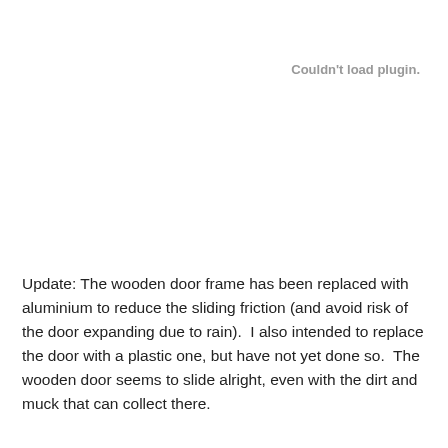Couldn't load plugin.
Update: The wooden door frame has been replaced with aluminium to reduce the sliding friction (and avoid risk of the door expanding due to rain).  I also intended to replace the door with a plastic one, but have not yet done so.  The wooden door seems to slide alright, even with the dirt and muck that can collect there.